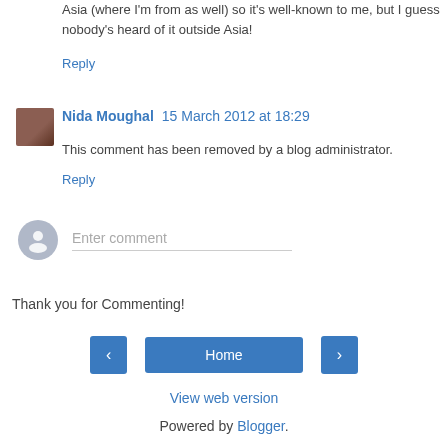Asia (where I'm from as well) so it's well-known to me, but I guess nobody's heard of it outside Asia!
Reply
Nida Moughal  15 March 2012 at 18:29
This comment has been removed by a blog administrator.
Reply
[Figure (other): Comment input area with avatar placeholder and Enter comment field]
Thank you for Commenting!
Home navigation buttons (back, Home, forward)
View web version
Powered by Blogger.